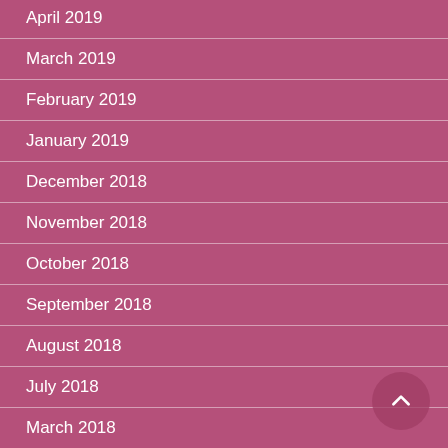April 2019
March 2019
February 2019
January 2019
December 2018
November 2018
October 2018
September 2018
August 2018
July 2018
March 2018